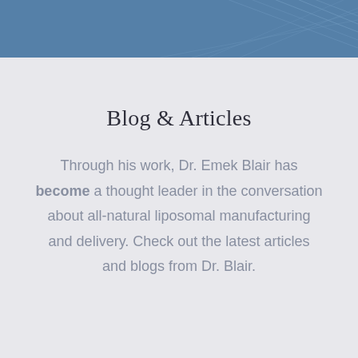[Figure (illustration): Blue header banner with decorative geometric line pattern in lighter blue]
Blog & Articles
Through his work, Dr. Emek Blair has become a thought leader in the conversation about all-natural liposomal manufacturing and delivery. Check out the latest articles and blogs from Dr. Blair.